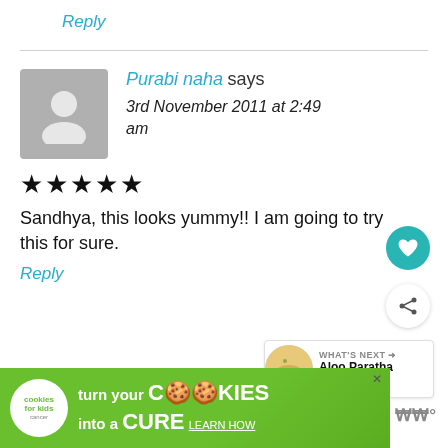Reply
Purabi naha says
3rd November 2011 at 2:49 am
★★★★★
Sandhya, this looks yummy!! I am going to try this for sure.
Reply
[Figure (other): Heart button (teal circle with heart icon) and share button (white circle with share icon)]
[Figure (other): What's Next panel: Aloo Paratha (Potato... with food image thumbnail]
[Figure (other): Advertisement banner: cookies for kids cancer - turn your COOKIES into a CURE LEARN HOW]